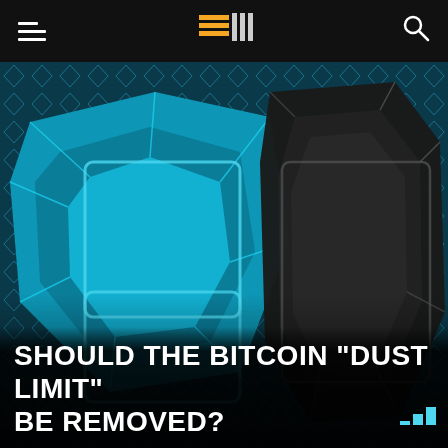Navigation bar with hamburger menu, logo, and search icon
[Figure (illustration): Stylized digital/blockchain themed illustration featuring geometric crystal-like shapes — a large blue faceted square/diamond form on the left and a dark/black faceted rectangle on the right, set against a teal-blue grid/hex pattern background. The shapes resemble connected blockchain blocks or digital gems with a low-poly aesthetic.]
SHOULD THE BITCOIN “DUST LIMIT” BE REMOVED?